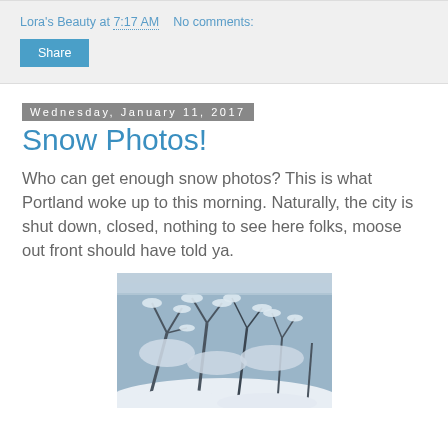Lora's Beauty at 7:17 AM   No comments:
Wednesday, January 11, 2017
Snow Photos!
Who can get enough snow photos? This is what Portland woke up to this morning. Naturally, the city is shut down, closed, nothing to see here folks, moose out front should have told ya.
[Figure (photo): Snow-covered branches and shrubs, wintery outdoor scene]